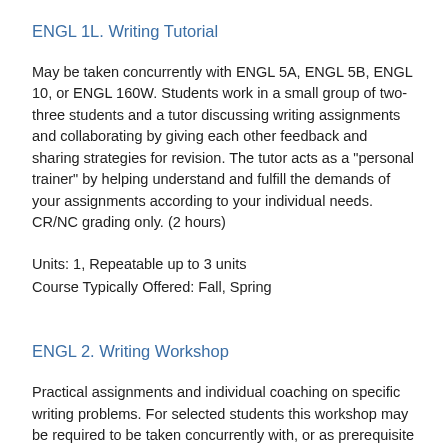ENGL 1L. Writing Tutorial
May be taken concurrently with ENGL 5A, ENGL 5B, ENGL 10, or ENGL 160W. Students work in a small group of two-three students and a tutor discussing writing assignments and collaborating by giving each other feedback and sharing strategies for revision. The tutor acts as a "personal trainer" by helping understand and fulfill the demands of your assignments according to your individual needs. CR/NC grading only. (2 hours)
Units: 1, Repeatable up to 3 units
Course Typically Offered: Fall, Spring
ENGL 2. Writing Workshop
Practical assignments and individual coaching on specific writing problems. For selected students this workshop may be required to be taken concurrently with, or as prerequisite to, other courses.
Units: 1-4